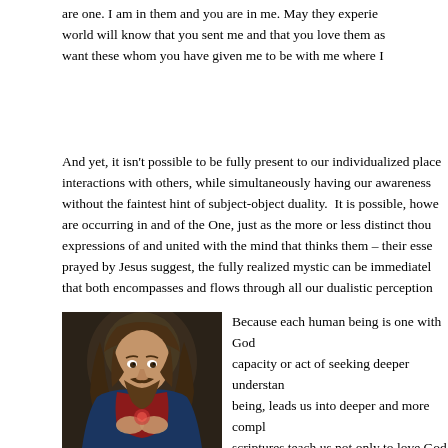are one. I am in them and you are in me. May they experience world will know that you sent me and that you love them as want these whom you have given me to be with me where I
And yet, it isn't possible to be fully present to our individualized place interactions with others, while simultaneously having our awareness without the faintest hint of subject-object duality.  It is possible, howe are occurring in and of the One, just as the more or less distinct thou expressions of and united with the mind that thinks them – their esse prayed by Jesus suggest, the fully realized mystic can be immediatel that both encompasses and flows through all our dualistic perception
[Figure (photo): Portrait painting of Jesus Christ with long brown hair and beard, wearing a blue robe over a red garment, with hands positioned near his chest in a devotional pose, against a dark background with a soft glow.]
Because each human being is one with God capacity or act of seeking deeper understan being, leads us into deeper and more compl scriptures teach us not only to love God wit ourselves, because both are necessary for t expression of the unity Jesus prayed for us understanding of Christianity's tradition of re potential visitation from Christ.  To practic